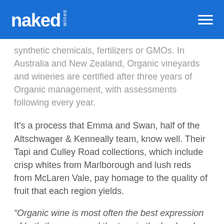naked wines
synthetic chemicals, fertilizers or GMOs. In Australia and New Zealand, Organic vineyards and wineries are certified after three years of Organic management, with assessments following every year.
It's a process that Emma and Swan, half of the Altschwager & Kenneally team, know well. Their Tapi and Culley Road collections, which include crisp whites from Marlborough and lush reds from McLaren Vale, pay homage to the quality of fruit that each region yields.
“Organic wine is most often the best expression of both the grape and the terroir, the land and